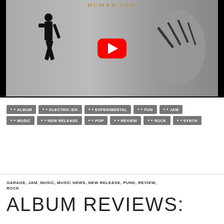[Figure (screenshot): YouTube video thumbnail showing 'Human Zoo' text at top, a silhouetted man in fighting pose on left and a zebra/leopard figure on right, with YouTube play button in center. Black borders frame the image.]
ALBUM
ELECTRIC SIX
EXPERIMENTAL
FUN
JAM
MUSIC
NEW RELEASE
POP
REVIEW
ROCK
SYNTH
GARAGE, JAM, MUSIC, MUSIC NEWS, NEW RELEASE, PUNK, REVIEW, ROCK
ALBUM REVIEWS: